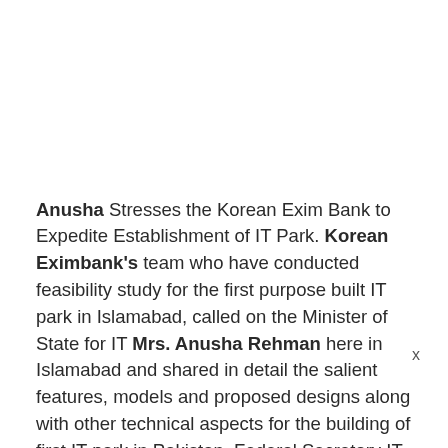Anusha Stresses the Korean Exim Bank to Expedite Establishment of IT Park. Korean Eximbank's team who have conducted feasibility study for the first purpose built IT park in Islamabad, called on the Minister of State for IT Mrs. Anusha Rehman here in Islamabad and shared in detail the salient features, models and proposed designs along with other technical aspects for the building of first IT park in Pakistan. Federal Secretary IT Mr. Rizwan Bashir Khan and senior officials from Ministry of IT and PSEB were also present in the meeting.